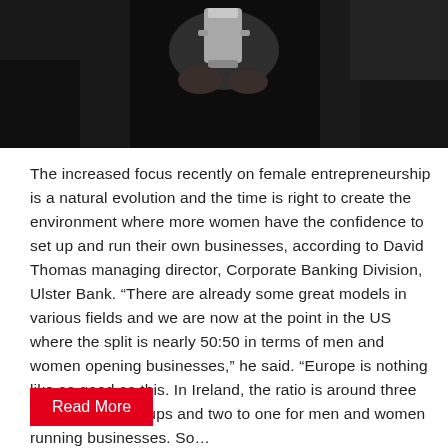[Figure (photo): Black and white photograph showing hands holding a silver trophy cup, with dark background and additional figures visible]
The increased focus recently on female entrepreneurship is a natural evolution and the time is right to create the environment where more women have the confidence to set up and run their own businesses, according to David Thomas managing director, Corporate Banking Division, Ulster Bank. “There are already some great models in various fields and we are now at the point in the US where the split is nearly 50:50 in terms of men and women opening businesses,” he said. “Europe is nothing like as good as this. In Ireland, the ratio is around three to one with start-ups and two to one for men and women running businesses. So…
Read More